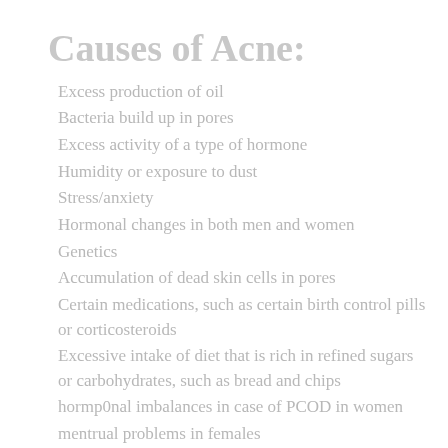Causes of Acne:
Excess production of oil
Bacteria build up in pores
Excess activity of a type of hormone
Humidity or exposure to dust
Stress/anxiety
Hormonal changes in both men and women
Genetics
Accumulation of dead skin cells in pores
Certain medications, such as certain birth control pills or corticosteroids
Excessive intake of diet that is rich in refined sugars or carbohydrates, such as bread and chips
hormp0nal imbalances in case of PCOD in women
mentrual problems in females
steep anomalies